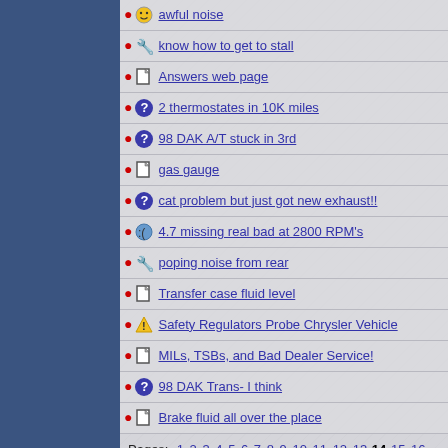awful noise
know how to get to stall
Answers web page
2 thermostates in 10K miles
98 DAK A/T stuck in 3rd
gas gauge
cat problem but just got new exhaust!!
4.7 missing real bad at 2800 RPM's
poping noise from rear
Transfer case fluid level
Safety Regulators Probe Chrysler Vehicle
MILs, TSBs, and Bad Dealer Service!
98 DAK Trans- I think
Brake fluid all over the place
Pages: 1 2 3 4 5 6 7 8 9 10 11 12 13 14 15 16 17
Post a new message:
Username Registration: Optional
All visitors are allowed to post messages